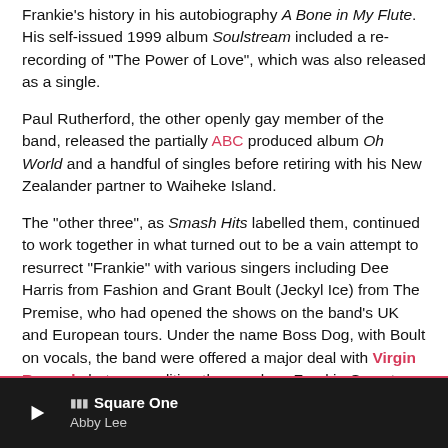Frankie's history in his autobiography A Bone in My Flute. His self-issued 1999 album Soulstream included a re-recording of "The Power of Love", which was also released as a single.
Paul Rutherford, the other openly gay member of the band, released the partially ABC produced album Oh World and a handful of singles before retiring with his New Zealander partner to Waiheke Island.
The "other three", as Smash Hits labelled them, continued to work together in what turned out to be a vain attempt to resurrect "Frankie" with various singers including Dee Harris from Fashion and Grant Boult (Jeckyl Ice) from The Premise, who had opened the shows on the band's UK and European tours. Under the name Boss Dog, with Boult on vocals, the band were offered a major deal with Virgin Records but on condition they work as Frankie Goes to Hollywood. Johnson challenged the use of the name and the deal soured. Boult and
Square One — Abby Lee